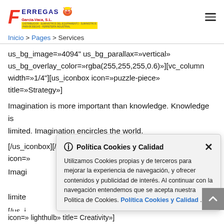Ferregas Garcia-Vaca, S.L. logo and navigation
Inicio > Pages > Services
us_bg_image=»4094" us_bg_parallax=»vertical» us_bg_overlay_color=»rgba(255,255,255,0.6)»][vc_column width=»1/4"][us_iconbox icon=»puzzle-piece» title=»Strategy»]
Imagination is more important than knowledge. Knowledge is limited. Imagination encircles the world.
[/us_iconbox][/vc_column][vc_column width=»1/4"][us_iconbox icon=>
Imagination is more important than knowledge. Knowledge is limited.
[/us_ic
[Figure (screenshot): Cookie consent popup titled 'Política Cookies y Calidad' with close button, body text about cookies policy, and a link 'Política Cookies y Calidad']
icon= lighthulb» title= Creativity»]